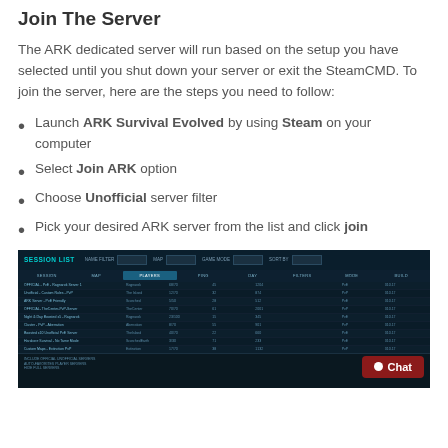Join The Server
The ARK dedicated server will run based on the setup you have selected until you shut down your server or exit the SteamCMD. To join the server, here are the steps you need to follow:
Launch ARK Survival Evolved by using Steam on your computer
Select Join ARK option
Choose Unofficial server filter
Pick your desired ARK server from the list and click join
[Figure (screenshot): Screenshot of ARK Survival Evolved session list UI showing server browser with SESSION LIST header, columns for Session, Map, Players, Ping, Day, Filters, Mode, Build. A teal ARK logo watermark is visible in the background. A red Chat button is visible in the bottom right corner.]